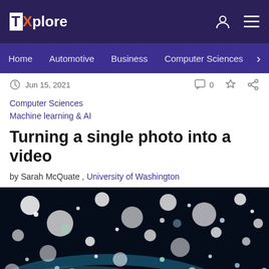TechXplore
Home | Automotive | Business | Computer Sciences
Jun 15, 2021  0
Computer Sciences
Machine learning & AI
Turning a single photo into a video
by Sarah McQuate , University of Washington
[Figure (photo): Bokeh-style space/galaxy photo with colorful light orbs on a dark background with blue/teal arc shapes.]